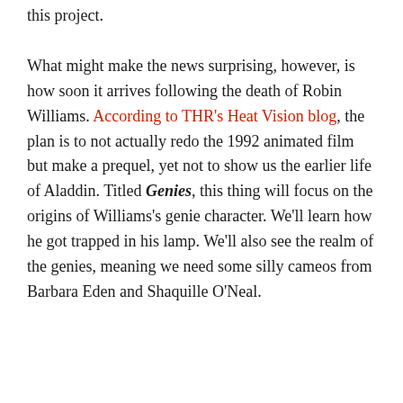this project.
What might make the news surprising, however, is how soon it arrives following the death of Robin Williams. According to THR's Heat Vision blog, the plan is to not actually redo the 1992 animated film but make a prequel, yet not to show us the earlier life of Aladdin. Titled Genies, this thing will focus on the origins of Williams's genie character. We'll learn how he got trapped in his lamp. We'll also see the realm of the genies, meaning we need some silly cameos from Barbara Eden and Shaquille O'Neal.